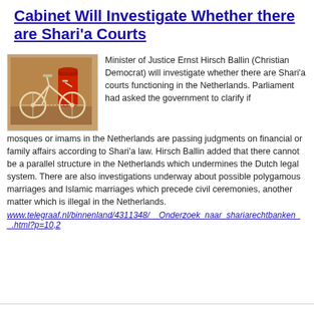Cabinet Will Investigate Whether there are Shari'a Courts
[Figure (photo): Photo of a bicycle leaning against a red post box on a brick/dirt surface]
Minister of Justice Ernst Hirsch Ballin (Christian Democrat) will investigate whether there are Shari'a courts functioning in the Netherlands. Parliament had asked the government to clarify if mosques or imams in the Netherlands are passing judgments on financial or family affairs according to Shari'a law. Hirsch Ballin added that there cannot be a parallel structure in the Netherlands which undermines the Dutch legal system. There are also investigations underway about possible polygamous marriages and Islamic marriages which precede civil ceremonies, another matter which is illegal in the Netherlands.
www.telegraaf.nl/binnenland/4311348/__Onderzoek_naar_shariarechtbanken__.html?p=10,2